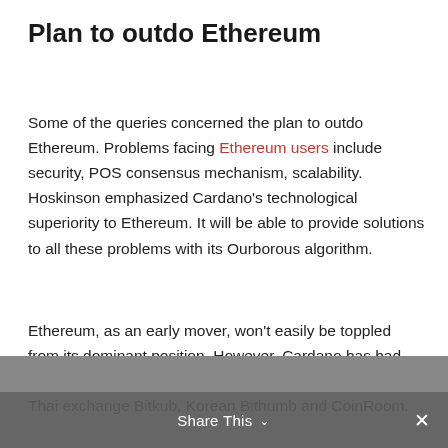Plan to outdo Ethereum
Some of the queries concerned the plan to outdo Ethereum. Problems facing Ethereum users include security, POS consensus mechanism, scalability. Hoskinson emphasized Cardano’s technological superiority to Ethereum. It will be able to provide solutions to all these problems with its Ourborous algorithm.
Ethereum, as an early mover, won’t easily be toppled from its dominant position. However, Cardano has had some positive headlines lately and recently got listed on Thai exchange Bitkub, Korean Bithumb and CoinRoom.
Next generation protocols
Share This ∨ ×